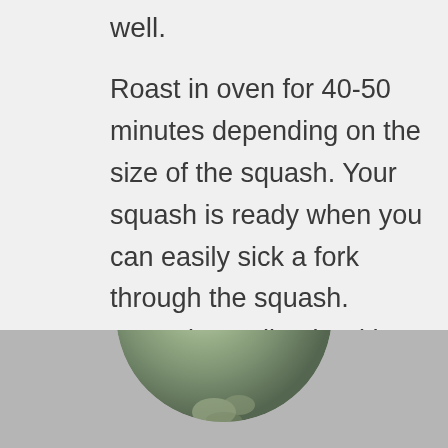well.
Roast in oven for 40-50 minutes depending on the size of the squash. Your squash is ready when you can easily sick a fork through the squash. Serve immediately with a fork or spoon. I like to eat mine with a spoon.
© Copyright Tesia Love. www.tesialove.com
[Figure (photo): Partial circular photo of a squash or vegetable dish, cut off at the bottom of the page.]